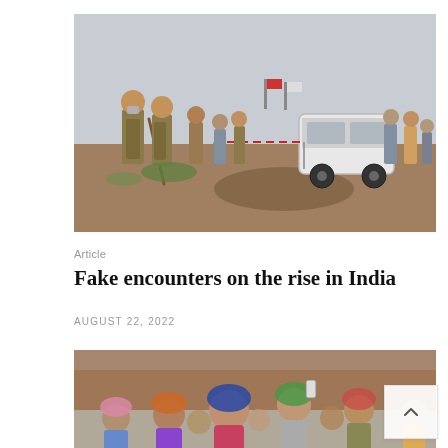[Figure (photo): Police officers in khaki uniforms stand at a muddy outdoor scene with an overturned white vehicle (possibly a van or bus) on its side. Several people mill around in the background near barriers. One officer holds a baton. The scene appears to be in India.]
Article
Fake encounters on the rise in India
AUGUST 22, 2022
[Figure (photo): A crowd of women protesters, some wearing colorful headscarves, gathered outdoors. One woman appears to be recording with a phone. The background shows a brownish/reddish brick structure. The scene suggests a demonstration or protest in India.]